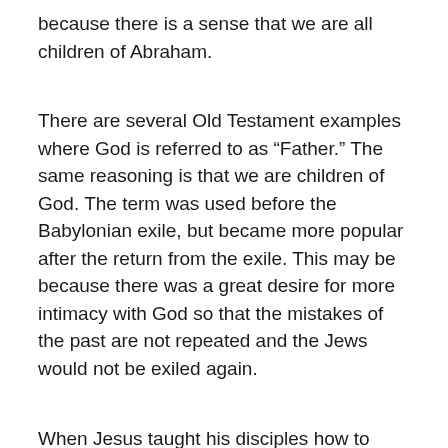because there is a sense that we are all children of Abraham.
There are several Old Testament examples where God is referred to as “Father.” The same reasoning is that we are children of God. The term was used before the Babylonian exile, but became more popular after the return from the exile. This may be because there was a great desire for more intimacy with God so that the mistakes of the past are not repeated and the Jews would not be exiled again.
When Jesus taught his disciples how to pray, Jesus taught them a typical Jewish prayer. Jesus began with, “Our Father in heaven.” This might be because there will be no